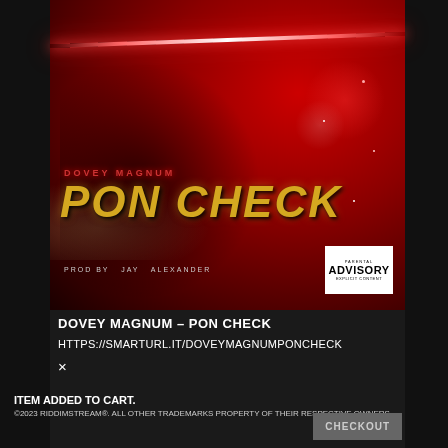[Figure (illustration): Album cover art for 'Pon Check' by Dovey Magnum. Dark red background with neon red lighting, featuring a figure in armor/futuristic gear with bejeweled fingernails. Text: DOVEY MAGNUM, PON CHECK, PROD BY JAY ALEXANDER. Parental Advisory Explicit Content label in bottom right.]
DOVEY MAGNUM – PON CHECK
HTTPS://SMARTURL.IT/DOVEYMAGNUMPONCHECK
×
ITEM ADDED TO CART.
©2023 RIDDIMSTREAM®. ALL OTHER TRADEMARKS PROPERTY OF THEIR RESPECTIVE OWNERS.
CHECKOUT